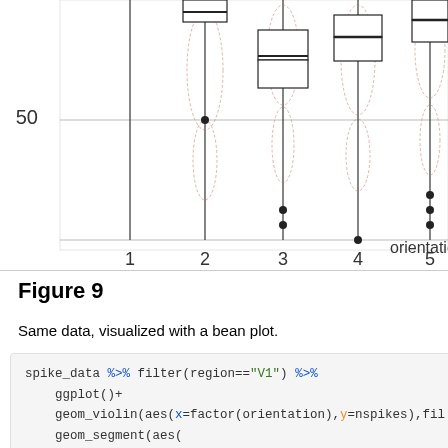[Figure (continuous-plot): Partial view of a bean/violin plot showing orientation (x-axis, values 1-5) vs nspikes (y-axis, value 50 visible). Violin shapes with dashed red lines and box plot overlays are shown for orientations 1-5. The plot is cut off at the top and right.]
Figure 9
Same data, visualized with a bean plot.
spike_data %>% filter(region=="V1") %>%
    ggplot()+
    geom_violin(aes(x=factor(orientation),y=nspikes),fil
    geom_segment(aes(
      x=match(factor(orientation),levels(factor(orientat
      xend=match(factor(orientation),levels(factor(orien
      y=nspikes, yend=nspikes),
      alpha(...